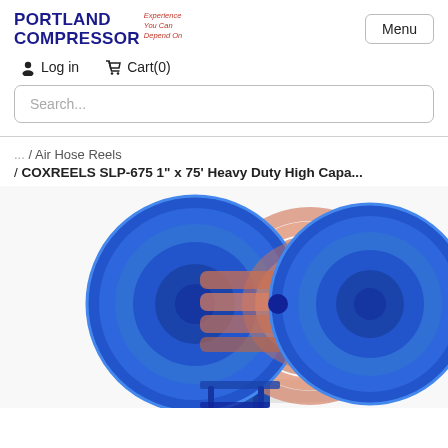PORTLAND COMPRESSOR Experience You Can Depend On
Log in   Cart(0)
Search...
... / Air Hose Reels
/ COXREELS SLP-675 1" x 75' Heavy Duty High Capa...
[Figure (photo): Blue industrial hose reel (COXREELS SLP-675) with salmon/pink colored hose wound around it, mounted on a blue bracket. The reel has two large circular blue flanges.]